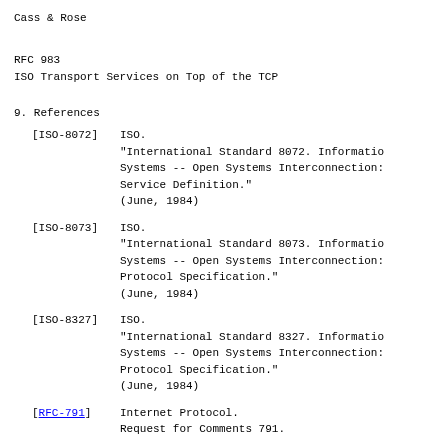Cass & Rose
RFC 983
ISO Transport Services on Top of the TCP
9.  References
[ISO-8072]   ISO.
"International Standard 8072.  Information Processing Systems -- Open Systems Interconnection: Service Definition."
(June, 1984)
[ISO-8073]   ISO.
"International Standard 8073.  Information Processing Systems -- Open Systems Interconnection: Protocol Specification."
(June, 1984)
[ISO-8327]   ISO.
"International Standard 8327.  Information Processing Systems -- Open Systems Interconnection: Protocol Specification."
(June, 1984)
[RFC-791]   Internet Protocol.
Request for Comments 791.